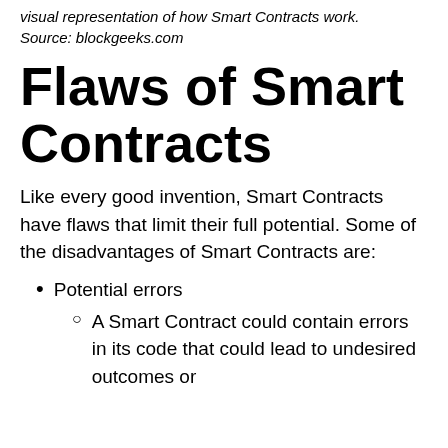visual representation of how Smart Contracts work. Source: blockgeeks.com
Flaws of Smart Contracts
Like every good invention, Smart Contracts have flaws that limit their full potential. Some of the disadvantages of Smart Contracts are:
Potential errors
A Smart Contract could contain errors in its code that could lead to undesired outcomes or